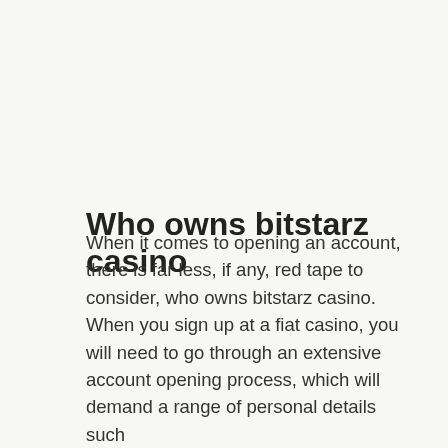Who owns bitstarz casino
When it comes to opening an account, there is far less, if any, red tape to consider, who owns bitstarz casino. When you sign up at a fiat casino, you will need to go through an extensive account opening process, which will demand a range of personal details such